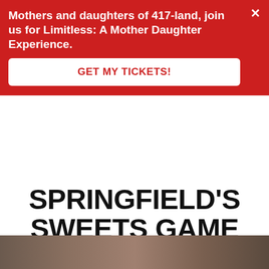Mothers and daughters of 417-land, join us for Limitless: A Mother Daughter Experience.
GET MY TICKETS!
SPRINGFIELD'S SWEETS GAME
The new downtown dessert shop offers nearly 20 types of safe-to-eat cookie dough, customizable shakes, sprinkle-packed ice cream sandwiches and more.
BY SHANNON HOFFMANN
Mar 07 2018 at 2:38 p.m.
Share:
[Figure (photo): Partial thumbnail strip of a food photo at the bottom of the page]